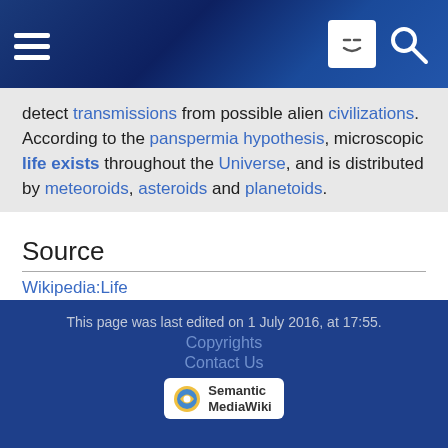[navigation bar with hamburger menu and search icon]
detect transmissions from possible alien civilizations. According to the panspermia hypothesis, microscopic life exists throughout the Universe, and is distributed by meteoroids, asteroids and planetoids.
Source
Wikipedia:Life
www.buddhisma2z.com [external link]
Categories: Buddhist Terms | Life
This page was last edited on 1 July 2016, at 17:55. Copyrights Contact Us Semantic MediaWiki